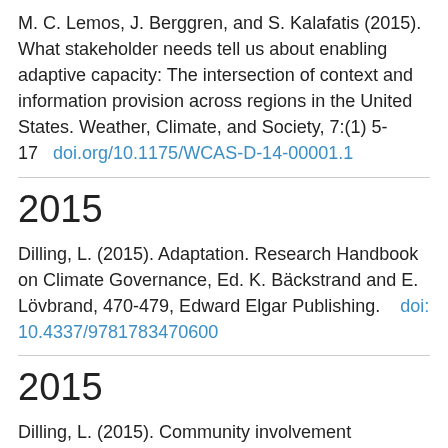M. C. Lemos, J. Berggren, and S. Kalafatis (2015). What stakeholder needs tell us about enabling adaptive capacity: The intersection of context and information provision across regions in the United States. Weather, Climate, and Society, 7:(1) 5-17   doi.org/10.1175/WCAS-D-14-00001.1
2015
Dilling, L. (2015). Adaptation. Research Handbook on Climate Governance, Ed. K. Bäckstrand and E. Lövbrand, 470-479, Edward Elgar Publishing.    doi: 10.4337/9781783470600
2015
Dilling, L. (2015). Community involvement